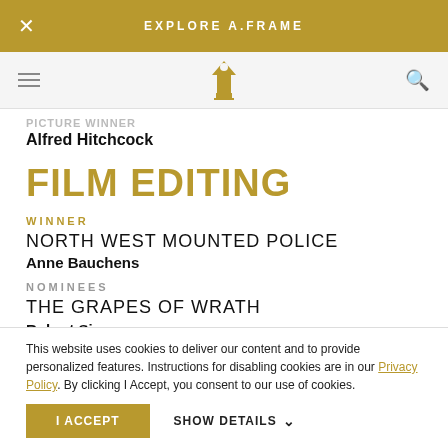EXPLORE A.FRAME
Alfred Hitchcock
FILM EDITING
WINNER
NORTH WEST MOUNTED POLICE
Anne Bauchens
NOMINEES
THE GRAPES OF WRATH
Robert Simpson
THE LETTER
This website uses cookies to deliver our content and to provide personalized features. Instructions for disabling cookies are in our Privacy Policy. By clicking I Accept, you consent to our use of cookies.
I ACCEPT
SHOW DETAILS